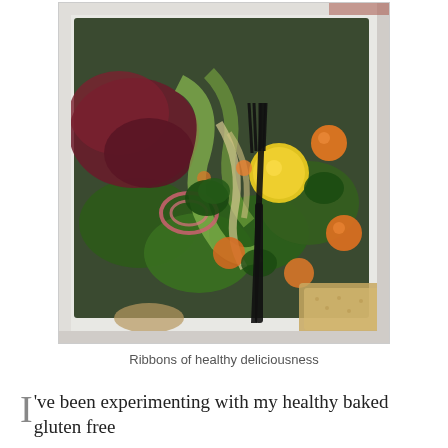[Figure (photo): Overhead view of a colorful salad in a takeout container with dark plastic fork, containing mixed greens, red lettuce, yellow tomatoes, orange cherry tomatoes, red onion slices, parsley, fennel, and cracker/flatbread on the side.]
Ribbons of healthy deliciousness
I've been experimenting with my healthy baked gluten free